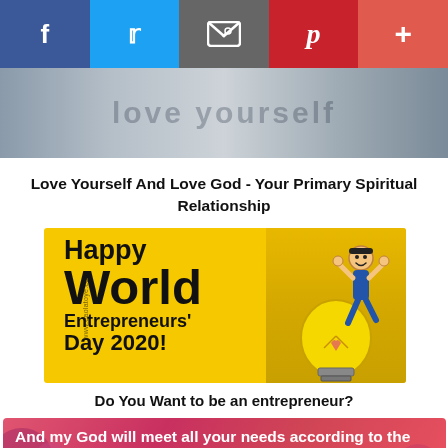[Figure (screenshot): Social media sharing bar with Facebook (blue), Twitter (light blue), Email (gray), Pinterest (red), and More (coral-red) buttons]
[Figure (photo): Partial cropped image showing blurred faces/hands with overlaid text (love yourself poster)]
Love Yourself And Love God - Your Primary Spiritual Relationship
[Figure (illustration): Happy World Entrepreneurs' Day 2020! banner on yellow background with cartoon businessman riding a light bulb, watermark www.eaolatoye.com]
Do You Want to be an entrepreneur?
[Figure (illustration): And my God will meet all your needs according to the riches - text on red/pink gradient background with decorative circles]